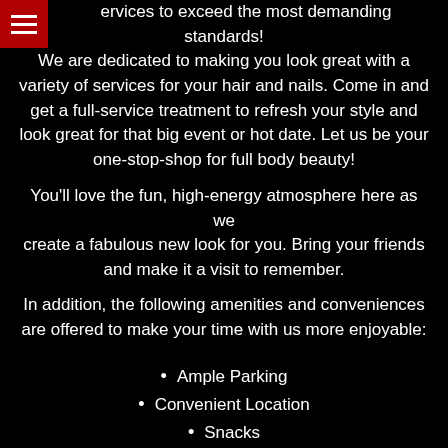[Figure (other): Red hamburger menu icon in top-left corner]
ervices to exceed the most demanding standards! We are dedicated to making you look great with a variety of services for your hair and nails. Come in and get a full-service treatment to refresh your style and look great for that big event or hot date. Let us be your one-stop-shop for full body beauty!
You'll love the fun, high-energy atmosphere here as we create a fabulous new look for you. Bring your friends and make it a visit to remember.
In addition, the following amenities and conveniences are offered to make your time with us more enjoyable:
Ample Parking
Convenient Location
Snacks
Beverages
Free Consultations